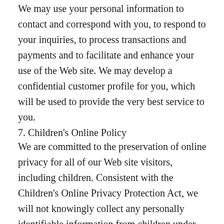We may use your personal information to contact and correspond with you, to respond to your inquiries, to process transactions and payments and to facilitate and enhance your use of the Web site. We may develop a confidential customer profile for you, which will be used to provide the very best service to you.
7. Children's Online Policy
We are committed to the preservation of online privacy for all of our Web site visitors, including children. Consistent with the Children's Online Privacy Protection Act, we will not knowingly collect any personally identifiable information from children under the age of 13. We sell products intended for